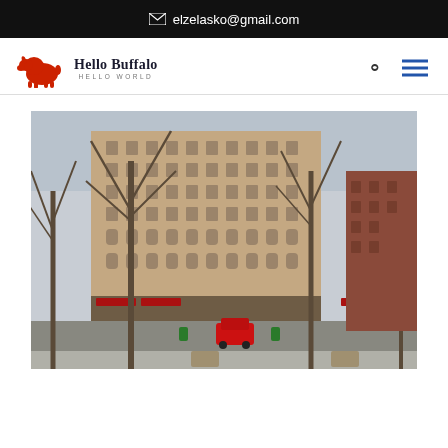✉ elzelasko@gmail.com
[Figure (logo): Hello Buffalo Hello World logo with red bison icon]
[Figure (photo): Street-level photo of a large historic multi-story stone building in downtown Buffalo, with bare winter trees in foreground, a red SUV on the street, and red awnings at ground level storefronts]